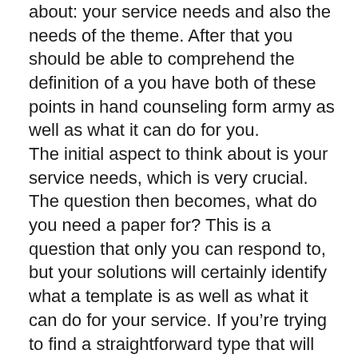about: your service needs and also the needs of the theme. After that you should be able to comprehend the definition of a you have both of these points in hand counseling form army as well as what it can do for you.
The initial aspect to think about is your service needs, which is very crucial. The question then becomes, what do you need a paper for? This is a question that only you can respond to, but your solutions will certainly identify what a template is as well as what it can do for your service. If you're trying to find a straightforward type that will certainly be utilized one or two times in your service, then a form theme would be what you need.